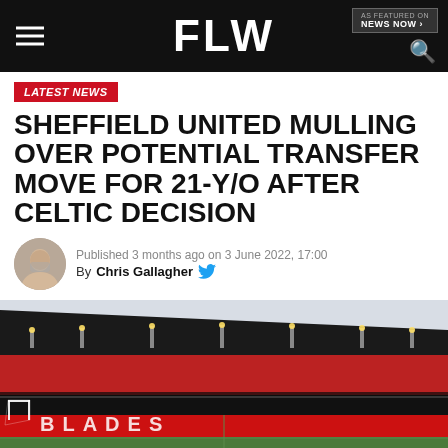FLW
LATEST NEWS
SHEFFIELD UNITED MULLING OVER POTENTIAL TRANSFER MOVE FOR 21-Y/O AFTER CELTIC DECISION
Published 3 months ago on 3 June 2022, 17:00
By Chris Gallagher
[Figure (photo): Sheffield United stadium (Bramall Lane) interior shot showing the stands and pitch with red advertising boards showing BLADES lettering]